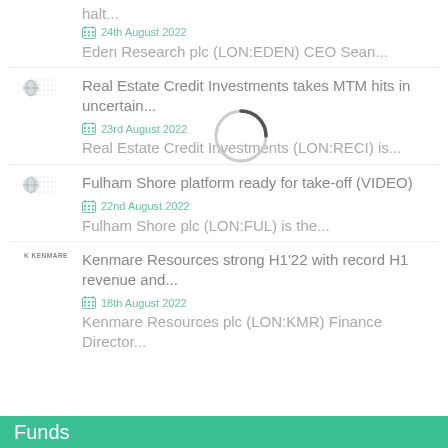halt...
24th August 2022
Eden Research plc (LON:EDEN) CEO Sean...
Real Estate Credit Investments takes MTM hits in uncertain...
23rd August 2022
Real Estate Credit Investments (LON:RECI) is...
Fulham Shore platform ready for take-off (VIDEO)
22nd August 2022
Fulham Shore plc (LON:FUL) is the...
Kenmare Resources strong H1'22 with record H1 revenue and...
18th August 2022
Kenmare Resources plc (LON:KMR) Finance Director...
Funds